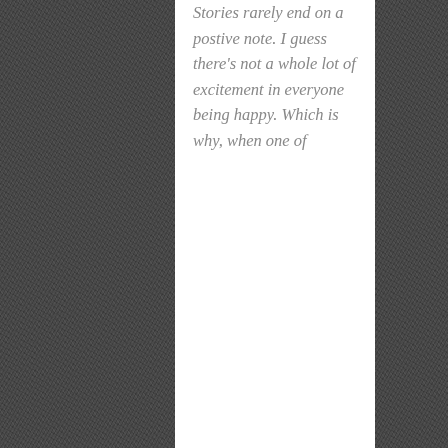Stories rarely end on a postive note. I guess there's not a whole lot of excitement in everyone being happy. Which is why, when one of